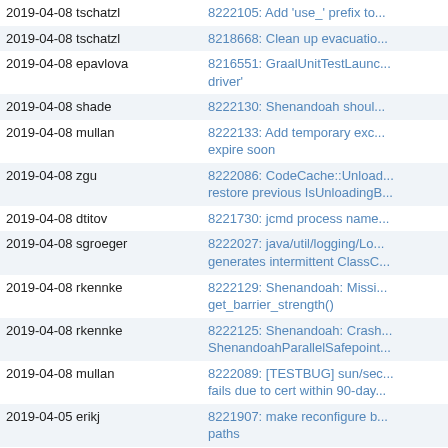| Date Author | Description |
| --- | --- |
| 2019-04-08 tschatzl | 8222105: Add 'use_' prefix to... |
| 2019-04-08 tschatzl | 8218668: Clean up evacuatio... |
| 2019-04-08 epavlova | 8216551: GraalUnitTestLaunc... driver' |
| 2019-04-08 shade | 8222130: Shenandoah shoul... |
| 2019-04-08 mullan | 8222133: Add temporary exc... expire soon |
| 2019-04-08 zgu | 8222086: CodeCache::Unload... restore previous IsUnloadingB... |
| 2019-04-08 dtitov | 8221730: jcmd process name... |
| 2019-04-08 sgroeger | 8222027: java/util/logging/Lo... generates intermittent ClassC... |
| 2019-04-08 rkennke | 8222129: Shenandoah: Missi... get_barrier_strength() |
| 2019-04-08 rkennke | 8222125: Shenandoah: Crash... ShenandoahParallelSafepoint... |
| 2019-04-08 mullan | 8222089: [TESTBUG] sun/sec... fails due to cert within 90-day... |
| 2019-04-05 erikj | 8221907: make reconfigure b... paths |
| 2019-04-08 shade | 8222111: exeCallerAccessTes... of non-void function |
| 2019-04-08 dpochepk | 8221995: AARCH64: problems... |
| 2019-04-08 clanger | 8221880: Better customizatio... FileDescription and ProductNa... |
| 2019-04-08 ngasson | 8221529: [TESTBUG] Docker ... AArch64 |
| 2019-04-07 shade | 8222032: x86_32 fails with "w... |